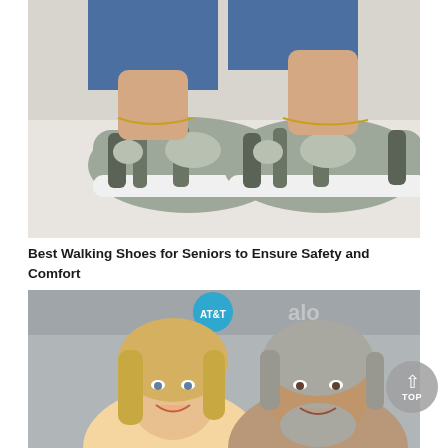[Figure (photo): Close-up photo of a person's feet wearing gray and olive/dark green casual walking shoes with velcro straps and white soles, over white fluffy background, wearing blue jeans and a thin gold anklet bracelet.]
Best Walking Shoes for Seniors to Ensure Safety and Comfort
[Figure (photo): Photo of an older couple smiling at a formal event. A blonde woman on the left and an older man with gray hair and beard on the right, with an AT&T logo banner in the background.]